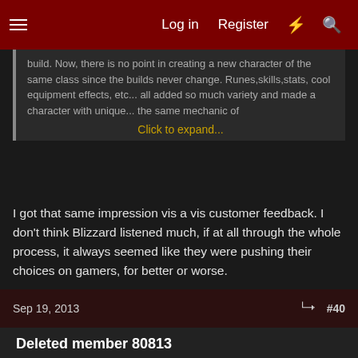Log in  Register  [flash] [search]
build. Now, there is no point in creating a new character of the same class since the builds never change. Runes,skills,stats, cool equipment effects, etc... all added so much variety and made a character with unique... [Click to expand...]
I got that same impression vis a vis customer feedback. I don't think Blizzard listened much, if at all through the whole process, it always seemed like they were pushing their choices on gamers, for better or worse.
It sounds like it bit them in the ass, and rightfully so. I think the game lost a good chunk of its playerbase within 3 months of launch as D3 just does not have any staying power.
Sep 19, 2013  #40
Deleted member 80813
Guest